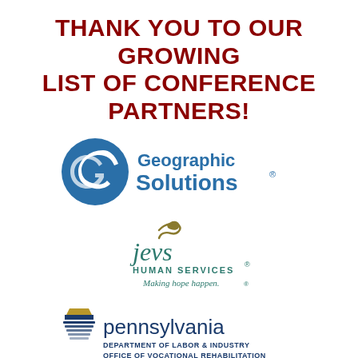THANK YOU TO OUR GROWING LIST OF CONFERENCE PARTNERS!
[Figure (logo): Geographic Solutions logo — blue circle with stylized S/G shape, text 'Geographic Solutions' in blue with registered trademark symbol]
[Figure (logo): JEVS Human Services logo — olive/gold swoosh figure above 'jevs' in teal, 'HUMAN SERVICES' in teal caps, 'Making hope happen.' tagline in italic teal, registered trademark symbol]
[Figure (logo): Pennsylvania Department of Labor & Industry, Office of Vocational Rehabilitation logo — stylized keystone/ship icon in blue and gold, 'pennsylvania' in large blue lowercase, 'DEPARTMENT OF LABOR & INDUSTRY' and 'OFFICE OF VOCATIONAL REHABILITATION' in small blue caps]